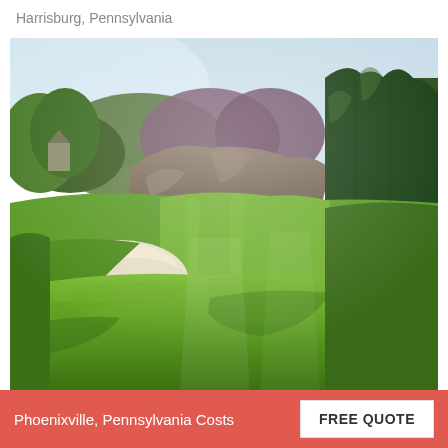Harrisburg, Pennsylvania
[Figure (photo): Golf course fairway and green with a sand bunker on the left, lush green grass, rocky outcrop with purple/red trees in the background, tall evergreen trees on the right, and sunlight filtering through.]
Phoenixville, Pennsylvania Costs
FREE QUOTE